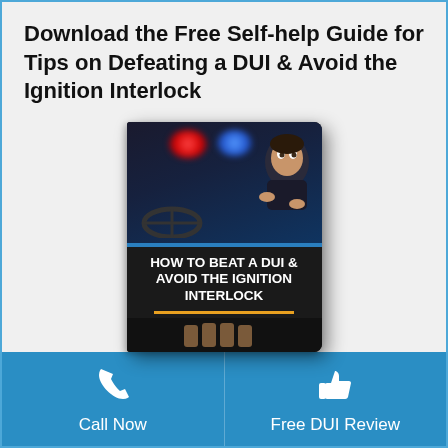Download the Free Self-help Guide for Tips on Defeating a DUI & Avoid the Ignition Interlock
[Figure (illustration): Book cover illustration showing a frightened driver being pulled over by police, with red and blue police lights. Book title reads 'HOW TO BEAT A DUI & AVOID THE IGNITION INTERLOCK' in white bold text on dark background with orange underline. Hands shown at bottom.]
Call Now
Free DUI Review